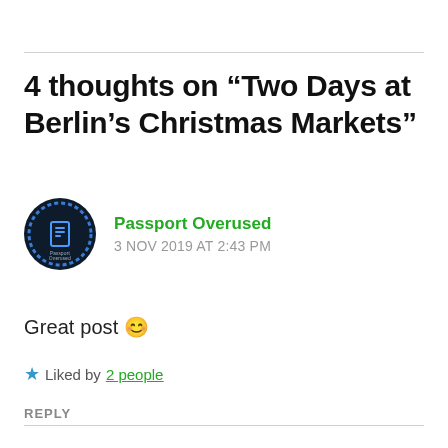4 thoughts on “Two Days at Berlin’s Christmas Markets”
[Figure (logo): Circular dark navy logo with blue ring and small book/passport icon, with text 'Passport Overused' around the bottom arc]
Passport Overused
3 NOV 2019 AT 2:43 PM
Great post 😊
★ Liked by 2 people
REPLY